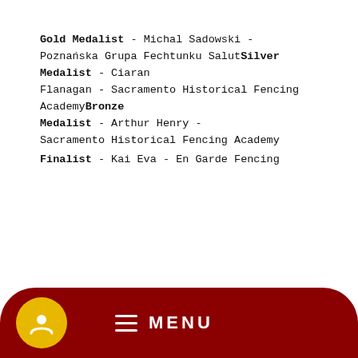Gold Medalist - Michal Sadowski - Poznańska Grupa Fechtunku SalutSilver Medalist - Ciaran Flanagan - Sacramento Historical Fencing AcademyBronze Medalist - Arthur Henry - Sacramento Historical Fencing Academy
Finalist - Kai Eva - En Garde Fencing
Open Longsword Cutting
Gold Medalist - Tony Huang - Blood and Iron Martial Arts, Burnaby
Finalist - Nathan Rowe - Kron Martial Arts, Los Angeles